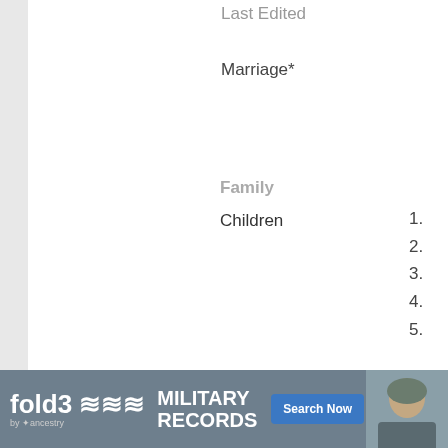Last Edited
Marriage*
Family
Children
1.
2.
3.
4.
5.
Citations
1. [S318] Unknown author, Obituary, h… ID=2668 ♂ on 28 July 2013

Neil S. Everingham, 80, of Bridgeton… Extended Care in Bridgeton where h…

Neil was born in Bridgeton and was… Everingham. He was a lifetime resid…
[Figure (other): fold3 by ancestry Military Records advertisement banner with Search Now button and soldier photo]